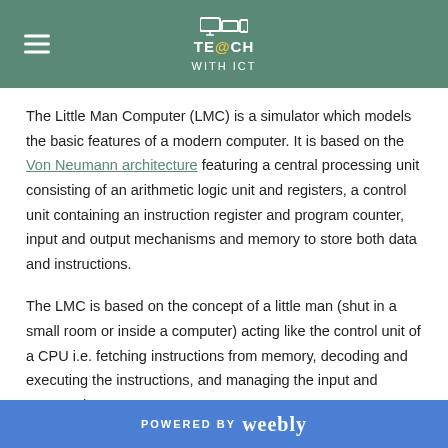TE@CH WITH ICT
The Little Man Computer (LMC) is a simulator which models the basic features of a modern computer. It is based on the Von Neumann architecture featuring a central processing unit consisting of an arithmetic logic unit and registers, a control unit containing an instruction register and program counter, input and output mechanisms and memory to store both data and instructions.
The LMC is based on the concept of a little man (shut in a small room or inside a computer) acting like the control unit of a CPU i.e. fetching instructions from memory, decoding and executing the instructions, and managing the input and output. The LMC can
POWERED BY weebly